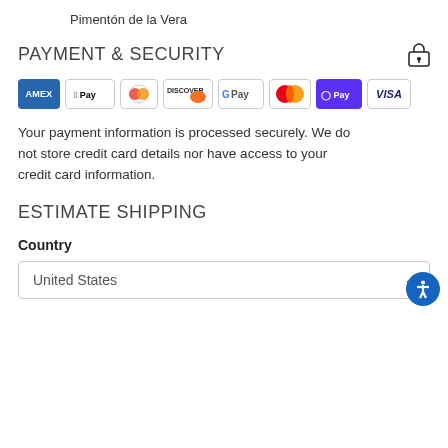Pimentón de la Vera
PAYMENT & SECURITY
[Figure (logo): Payment method icons: American Express (AMEX), Apple Pay, Diners Club, Discover, Google Pay, Mastercard, Shop Pay (O Pay), Visa]
Your payment information is processed securely. We do not store credit card details nor have access to your credit card information.
ESTIMATE SHIPPING
Country
United States